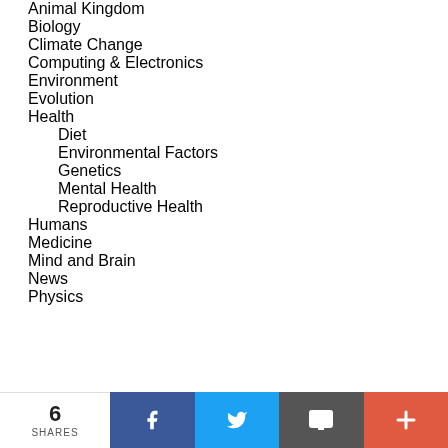Animal Kingdom
Biology
Climate Change
Computing & Electronics
Environment
Evolution
Health
Diet
Environmental Factors
Genetics
Mental Health
Reproductive Health
Humans
Medicine
Mind and Brain
News
Physics
6 SHARES | Facebook | Twitter | Email | More